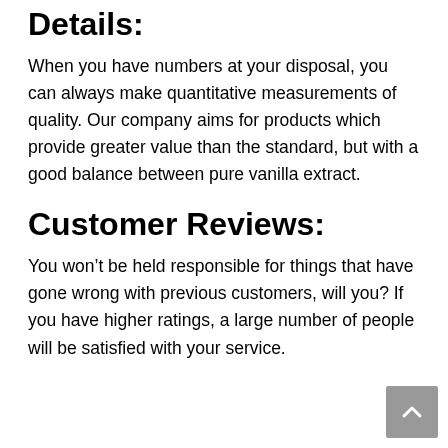Details:
When you have numbers at your disposal, you can always make quantitative measurements of quality. Our company aims for products which provide greater value than the standard, but with a good balance between pure vanilla extract.
Customer Reviews:
You won’t be held responsible for things that have gone wrong with previous customers, will you? If you have higher ratings, a large number of people will be satisfied with your service.